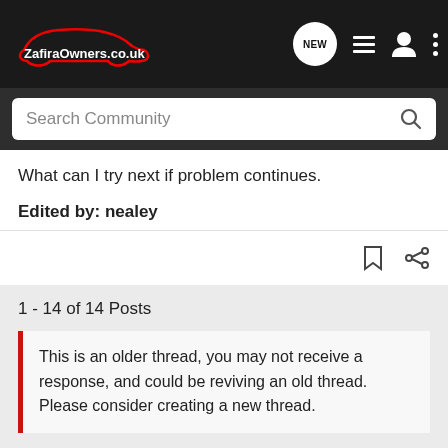ZafiraOwners.co.uk — navigation bar with logo, NEW chat icon, list icon, user icon, menu icon
Search Community
What can I try next if problem continues.
Edited by: nealey
1 - 14 of 14 Posts
This is an older thread, you may not receive a response, and could be reviving an old thread. Please consider creating a new thread.
Join the discussion